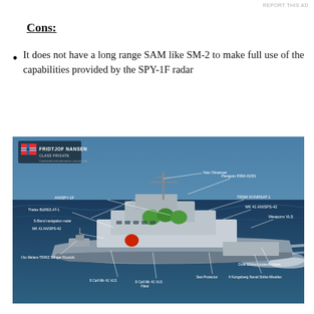REPORT THIS AD
Cons:
It does not have a long range SAM like SM-2 to make full use of the capabilities provided by the SPY-1F radar
[Figure (photo): Labeled diagram of Fridtjof Nansen class frigate at sea with annotations pointing to various systems including AN/SPY-1F, Nav Observer, Penguin RSM-315N, TRSM SONRSAT-1, MK 41 AN/SPS-42, Weapons VLS, Oto Melara TREC, S-Band navigation radar, B-Cell Mk 41 VLS, 8 Cell Mk 41 VLS, Sea Protector, Dual 324mm torpedo tubes, 4 Kongsberg Naval Strike Missiles]